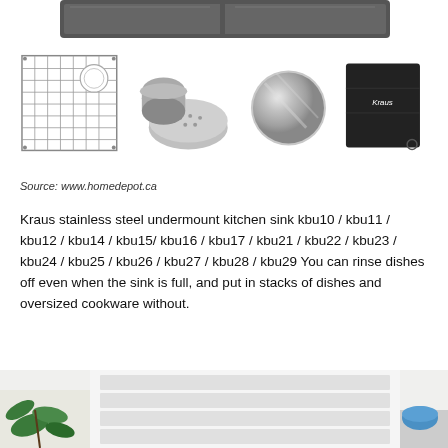[Figure (photo): Top-down view of a dark stainless steel undermount kitchen sink]
[Figure (photo): Four kitchen sink accessories: wire bottom grid, strainer/drain assembly, sink cap/stopper, and black Kraus cleaning cloth]
Source: www.homedepot.ca
Kraus stainless steel undermount kitchen sink kbu10 / kbu11 / kbu12 / kbu14 / kbu15/ kbu16 / kbu17 / kbu21 / kbu22 / kbu23 / kbu24 / kbu25 / kbu26 / kbu27 / kbu28 / kbu29 You can rinse dishes off even when the sink is full, and put in stacks of dishes and oversized cookware without.
[Figure (photo): Bottom portion of page showing a white kitchen cabinet/furniture piece with a blue bowl and green plant]